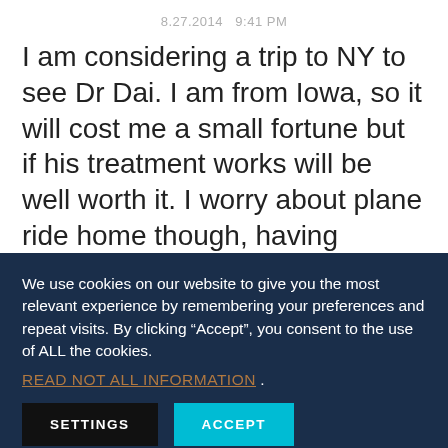8.27.2014   9:41 PM
I am considering a trip to NY to see Dr Dai. I am from Iowa, so it will cost me a small fortune but if his treatment works will be well worth it. I worry about plane ride home though, having setbacks from it. I have been struggling with this for almost a year now. Love to hear
We use cookies on our website to give you the most relevant experience by remembering your preferences and repeat visits. By clicking “Accept”, you consent to the use of ALL the cookies.
READ NOT ALL INFORMATION .
SETTINGS
ACCEPT